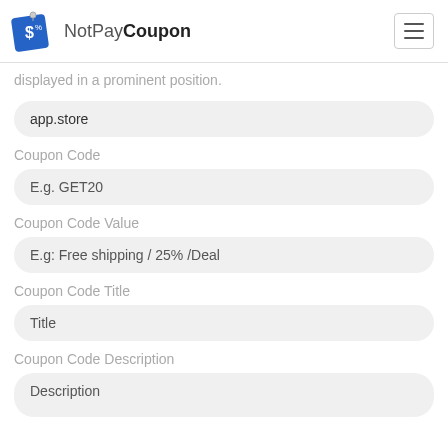NotPayCoupon
displayed in a prominent position.
app.store
Coupon Code
E.g. GET20
Coupon Code Value
E.g: Free shipping / 25% /Deal
Coupon Code Title
Title
Coupon Code Description
Description